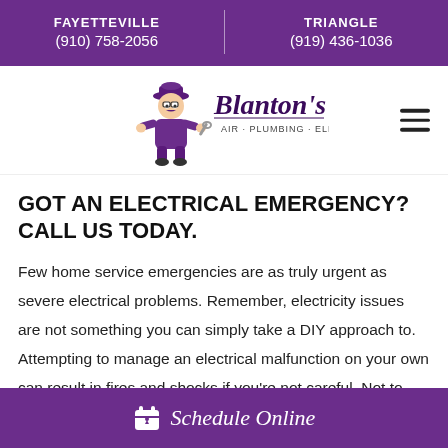FAYETTEVILLE (910) 758-2056 | TRIANGLE (919) 436-1036
[Figure (logo): Blanton's Air · Plumbing · Electric logo with cartoon mascot plumber character in purple uniform]
GOT AN ELECTRICAL EMERGENCY? CALL US TODAY.
Few home service emergencies are as truly urgent as severe electrical problems. Remember, electricity issues are not something you can simply take a DIY approach to. Attempting to manage an electrical malfunction on your own can result in fires and shocks if you're not careful. Not to mention that amateur electric work usually results in
Schedule Online